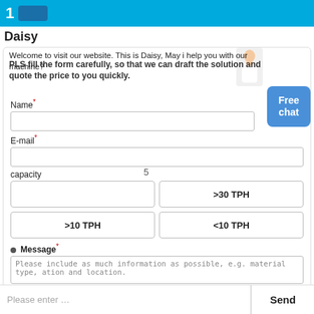1
Daisy
Welcome to visit our website. This is Daisy, May i help you with our machine?
PLS fill the form carefully, so that we can draft the solution and quote the price to you quickly.
Name*
E-mail*
5
capacity
>30 TPH
>10 TPH
<10 TPH
Message*
Please include as much information as possible, e.g. material type, ation and location.
Please enter ...
Send